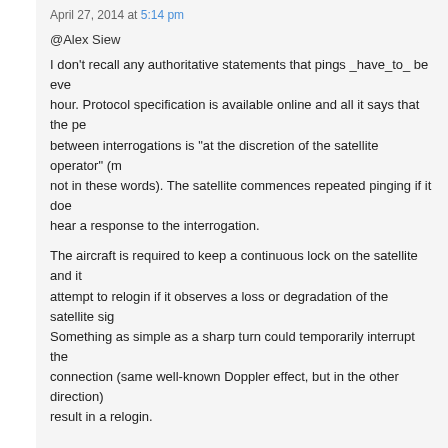April 27, 2014 at 5:14 pm
@Alex Siew
I don't recall any authoritative statements that pings _have_to_ be every hour. Protocol specification is available online and all it says that the period between interrogations is "at the discretion of the satellite operator" (more or less, not in these words). The satellite commences repeated pinging if it doesn't hear a response to the interrogation.
The aircraft is required to keep a continuous lock on the satellite and it will attempt to relogin if it observes a loss or degradation of the satellite signal. Something as simple as a sharp turn could temporarily interrupt the connection (same well-known Doppler effect, but in the other direction) and result in a relogin.
Alex Siew said,
April 27, 2014 at 7:37 pm
@hamster3null
The following are extracts from the statement issued by the investigation team on March 25,2014 (Malaysian time) accompanying the BFO chart, entitled "Information provided to MH370 Investigation By UK Air Accide